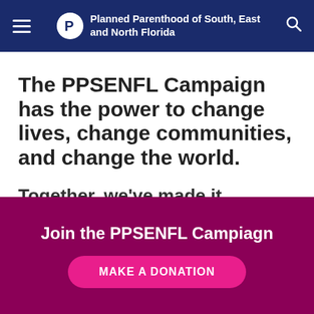Planned Parenthood of South, East and North Florida
The PPSENFL Campaign has the power to change lives, change communities, and change the world.
Together, we've made it happen. Our next steps will be even bigger and bolder.
Join the PPSENFL Campiagn
MAKE A DONATION